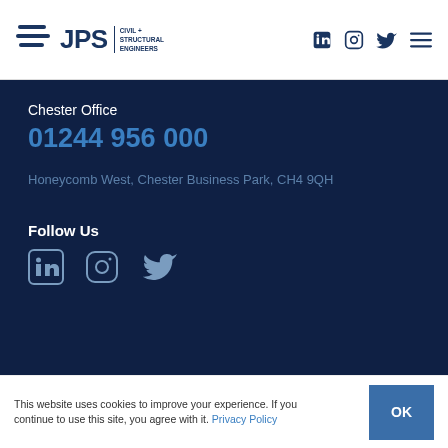[Figure (logo): JPS Civil + Structural Engineers logo with stacked lines icon]
[Figure (other): Header social media icons: LinkedIn, Instagram, Twitter, and hamburger menu]
Chester Office
01244 956 000
Honeycomb West, Chester Business Park, CH4 9QH
Follow Us
[Figure (other): Social media icons: LinkedIn, Instagram, Twitter]
This website uses cookies to improve your experience. If you continue to use this site, you agree with it. Privacy Policy